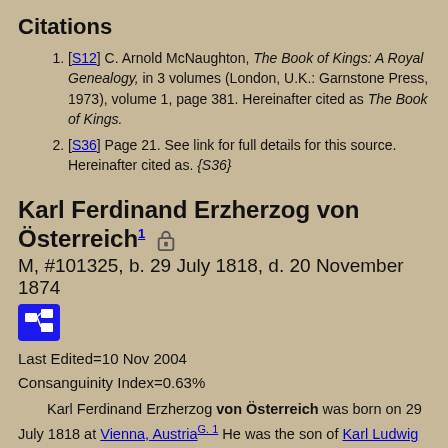Citations
[S12] C. Arnold McNaughton, The Book of Kings: A Royal Genealogy, in 3 volumes (London, U.K.: Garnstone Press, 1973), volume 1, page 381. Hereinafter cited as The Book of Kings.
[S36] Page 21. See link for full details for this source. Hereinafter cited as. {S36}
Karl Ferdinand Erzherzog von Österreich
M, #101325, b. 29 July 1818, d. 20 November 1874
Last Edited=10 Nov 2004
Consanguinity Index=0.63%
Karl Ferdinand Erzherzog von Österreich was born on 29 July 1818 at Vienna, Austria G. 1 He was the son of Karl Ludwig Erzherzog von Österreich and Henriette Alexandrine Prinzessin von Nassau-Weilburg. 2 He married Elizabeth Franziska Maria Erzherzogin von Österreich, daughter of Josef Anton Joseph Baptist Erzherzog von Österreich and